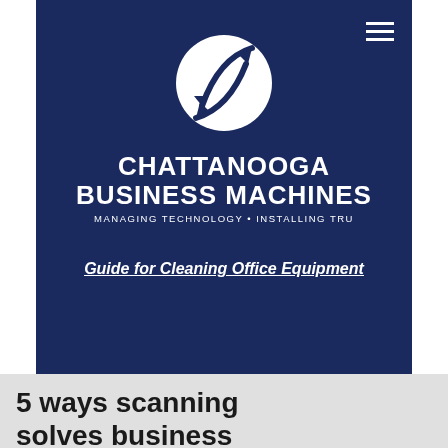[Figure (logo): Chattanooga Business Machines logo: white circular arrow icon with company name CHATTANOOGA BUSINESS MACHINES and tagline MANAGING TECHNOLOGY • INSTALLING TRUST on navy blue background]
Guide for Cleaning Office Equipment
5 ways scanning solves business problems